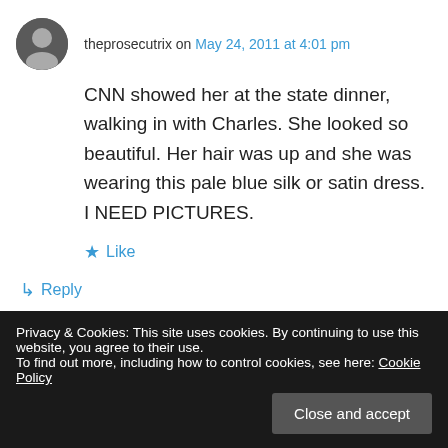theprosecutrix on May 24, 2011 at 4:01 pm
CNN showed her at the state dinner, walking in with Charles. She looked so beautiful. Her hair was up and she was wearing this pale blue silk or satin dress. I NEED PICTURES.
★ Like
↳ Reply
still4hill on May 24, 2011 at 4:21 pm
Privacy & Cookies: This site uses cookies. By continuing to use this website, you agree to their use.
To find out more, including how to control cookies, see here: Cookie Policy
Close and accept